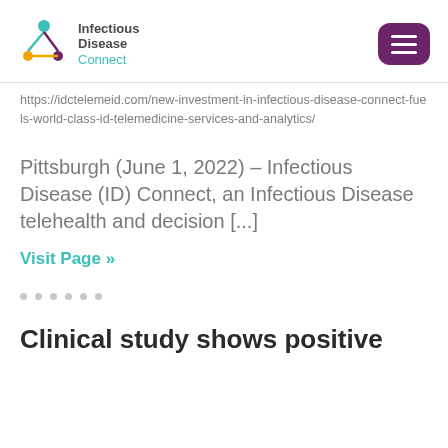Infectious Disease Connect
https://idctelemeid.com/new-investment-in-infectious-disease-connect-fuels-world-class-id-telemedicine-services-and-analytics/
Pittsburgh (June 1, 2022) – Infectious Disease (ID) Connect, an Infectious Disease telehealth and decision [...]
Visit Page »
Clinical study shows positive